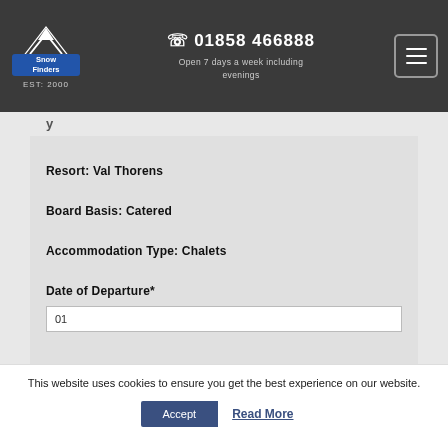Snow Finders EST: 2000 | 01858 466888 | Open 7 days a week including evenings
Resort: Val Thorens
Board Basis: Catered
Accommodation Type: Chalets
Date of Departure*
01
This website uses cookies to ensure you get the best experience on our website. Accept | Read More